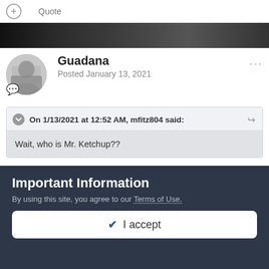+ Quote
[Figure (screenshot): Dark banner/header image strip across the page]
Guadana
Posted January 13, 2021
On 1/13/2021 at 12:52 AM, mfitz804 said:
Wait, who is Mr. Ketchup??
Heinz.
+ Quote   1
Important Information
By using this site, you agree to our Terms of Use.
✔ I accept